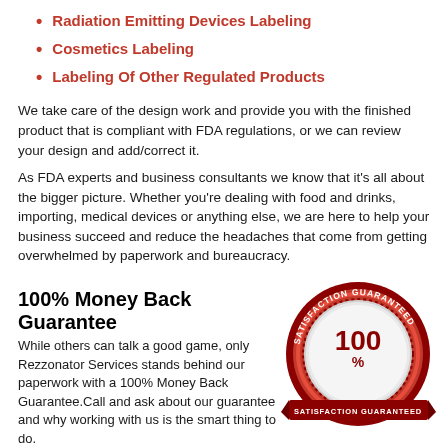Radiation Emitting Devices Labeling
Cosmetics Labeling
Labeling Of Other Regulated Products
We take care of the design work and provide you with the finished product that is compliant with FDA regulations, or we can review your design and add/correct it.
As FDA experts and business consultants we know that it's all about the bigger picture. Whether you're dealing with food and drinks, importing, medical devices or anything else, we are here to help your business succeed and reduce the headaches that come from getting overwhelmed by paperwork and bureaucracy.
100% Money Back Guarantee
While others can talk a good game, only Rezzonator Services stands behind our paperwork with a 100% Money Back Guarantee.Call and ask about our guarantee and why working with us is the smart thing to do.
[Figure (illustration): Red circular badge with text 'SATISFACTION GUARANTEED' around the top, '100%' in large text in the center, and a red ribbon banner at the bottom reading 'SATISFACTION GUARANTEED']